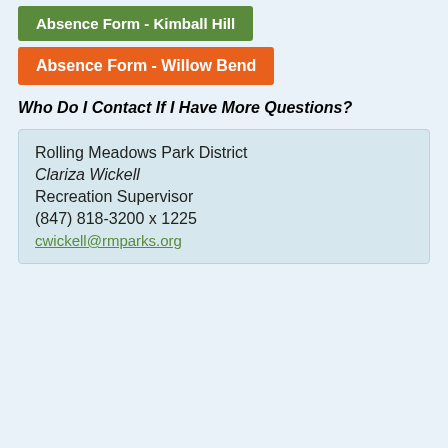Absence Form - Kimball Hill
Absence Form - Willow Bend
Who Do I Contact If I Have More Questions?
Rolling Meadows Park District
Clariza Wickell
Recreation Supervisor
(847) 818-3200 x 1225
cwickell@rmparks.org
[Figure (illustration): Decorative green leaf/oval shape containing the text 'Our Program Guide!' with a brochure thumbnail and orange leaf shape below]